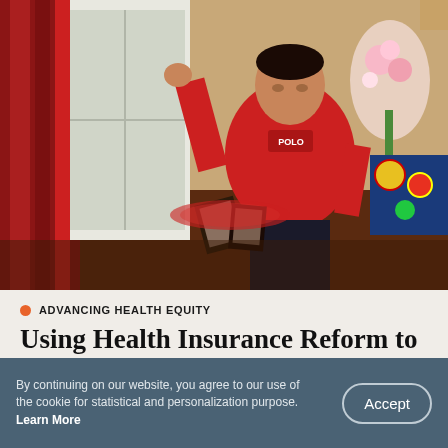[Figure (photo): A man in a red Polo t-shirt stands in a home living room near red curtains and a window, looking to the side with one hand raised. There are framed photos on a surface, colorful decor, a floral arrangement, and a patterned blanket visible in the background.]
ADVANCING HEALTH EQUITY
Using Health Insurance Reform to Reduce Disparities in Diabetes Care
By continuing on our website, you agree to our use of the cookie for statistical and personalization purpose. Learn More